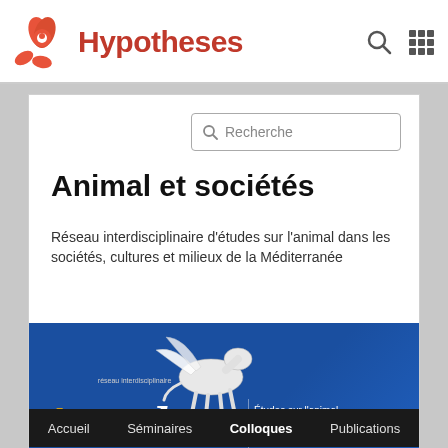[Figure (logo): Hypotheses platform header with orange/red flower logo and text 'Hypotheses', search icon and grid icon on the right]
[Figure (screenshot): Search box with magnifier icon and placeholder text 'Recherche']
Animal et sociétés
Réseau interdisciplinaire d'études sur l'animal dans les sociétés, cultures et milieux de la Méditerranée
[Figure (illustration): AniMed banner: blue background with Pegasus illustration and 'AniMed' logo text in yellow/white. Subtitle in French: Études sur l'animal dans les sociétés, cultures et milieux de la Méditerranée antique]
Accueil   Séminaires   Colloques   Publications